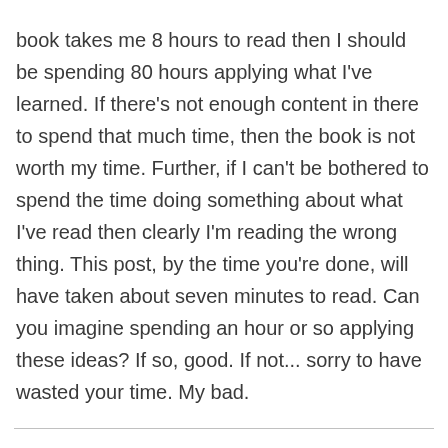book takes me 8 hours to read then I should be spending 80 hours applying what I've learned. If there's not enough content in there to spend that much time, then the book is not worth my time. Further, if I can't be bothered to spend the time doing something about what I've read then clearly I'm reading the wrong thing. This post, by the time you're done, will have taken about seven minutes to read. Can you imagine spending an hour or so applying these ideas? If so, good. If not... sorry to have wasted your time. My bad.
Aran Rees
FOUNDER AND COACH AT SABRE